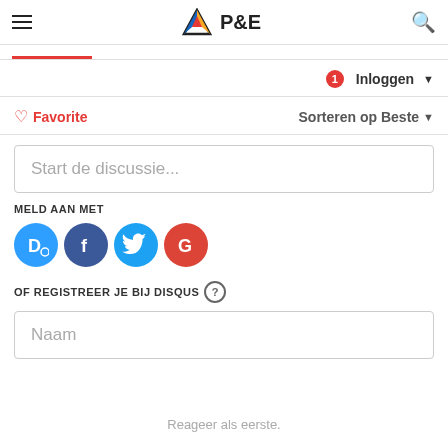P&E
Inloggen
Favorite   Sorteren op Beste
Start de discussie...
MELD AAN MET
[Figure (logo): Social login icons: Disqus (D), Facebook (f), Twitter bird, Google (G)]
OF REGISTREER JE BIJ DISQUS
Naam
Reageer als eerste.